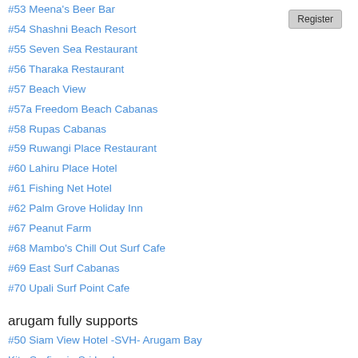#53 Meena's Beer Bar
#54 Shashni Beach Resort
#55 Seven Sea Restaurant
#56 Tharaka Restaurant
#57 Beach View
#57a Freedom Beach Cabanas
#58 Rupas Cabanas
#59 Ruwangi Place Restaurant
#60 Lahiru Place Hotel
#61 Fishing Net Hotel
#62 Palm Grove Holiday Inn
#67 Peanut Farm
#68 Mambo's Chill Out Surf Cafe
#69 East Surf Cabanas
#70 Upali Surf Point Cafe
arugam fully supports
#50 Siam View Hotel -SVH- Arugam Bay
Kite Surfing in Sri Lanka
Surfing Federation of Sri Lanka
Best Photos of AbaY
Another walk on the wild life
Arugam Bay Wild Life
Beautiful Beaches of Sri Lanka
Fun in Arugam Bay